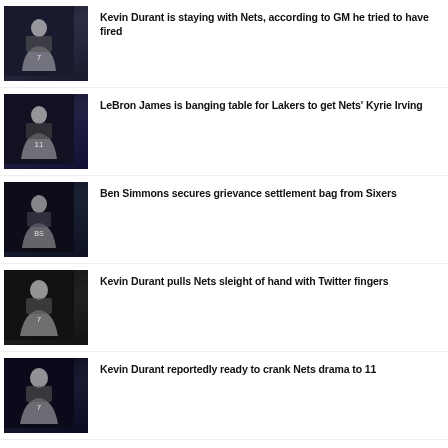Kevin Durant is staying with Nets, according to GM he tried to have fired
LeBron James is banging table for Lakers to get Nets' Kyrie Irving
Ben Simmons secures grievance settlement bag from Sixers
Kevin Durant pulls Nets sleight of hand with Twitter fingers
Kevin Durant reportedly ready to crank Nets drama to 11
Latest Kyrie Irving Nets rumor is either most predictable or ridiculous one yet
Nets drama addendum: 2 more nuggets involving Kevin Durant, Kyrie Irving